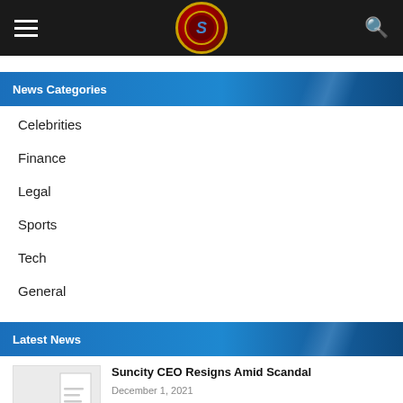Navigation header with hamburger menu, site logo, and search icon
News Categories
Celebrities
Finance
Legal
Sports
Tech
General
Latest News
Suncity CEO Resigns Amid Scandal
December 1, 2021